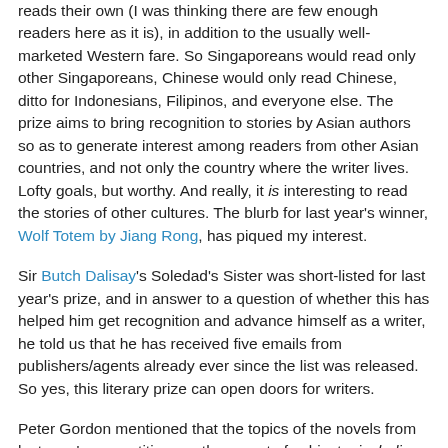reads their own (I was thinking there are few enough readers here as it is), in addition to the usually well-marketed Western fare. So Singaporeans would read only other Singaporeans, Chinese would only read Chinese, ditto for Indonesians, Filipinos, and everyone else. The prize aims to bring recognition to stories by Asian authors so as to generate interest among readers from other Asian countries, and not only the country where the writer lives. Lofty goals, but worthy. And really, it is interesting to read the stories of other cultures. The blurb for last year's winner, Wolf Totem by Jiang Rong, has piqued my interest.
Sir Butch Dalisay's Soledad's Sister was short-listed for last year's prize, and in answer to a question of whether this has helped him get recognition and advance himself as a writer, he told us that he has received five emails from publishers/agents already ever since the list was released. So yes, this literary prize can open doors for writers.
Peter Gordon mentioned that the topics of the novels from last year's competition ran the gamut of subjects, including genre. This shows the openness of this prize to any material,